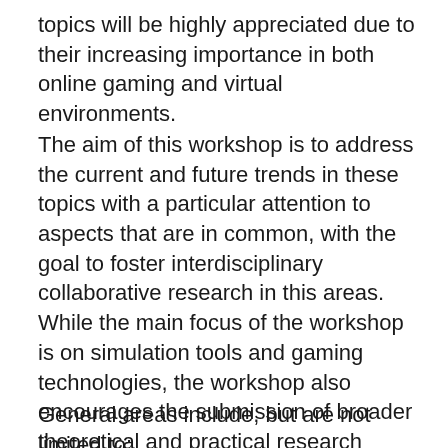topics will be highly appreciated due to their increasing importance in both online gaming and virtual environments.
The aim of this workshop is to address the current and future trends in these topics with a particular attention to aspects that are in common, with the goal to foster interdisciplinary collaborative research in this areas. While the main focus of the workshop is on simulation tools and gaming technologies, the workshop also encourages the submission of broader theoretical and practical research contributions, such as the report of relevant case studies. Cross-disciplinary position papers, posing problems and giving input to the involved communities, are particularly encouraged. Furthermore, one of the aim of the workshop is to bring academic and industry researchers together with practitioners.
General areas include, but are not limited to: